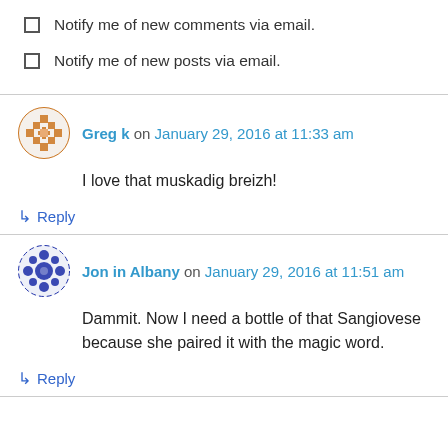Notify me of new comments via email.
Notify me of new posts via email.
Greg k on January 29, 2016 at 11:33 am
I love that muskadig breizh!
Reply
Jon in Albany on January 29, 2016 at 11:51 am
Dammit. Now I need a bottle of that Sangiovese because she paired it with the magic word.
Reply